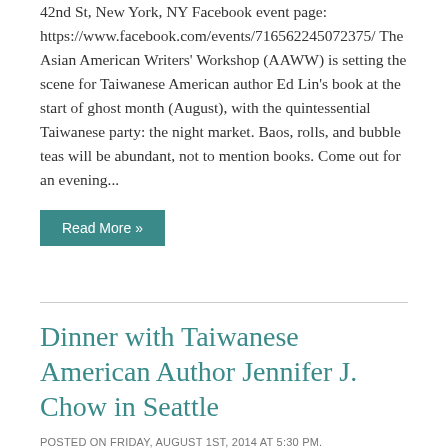42nd St, New York, NY Facebook event page: https://www.facebook.com/events/716562245072375/ The Asian American Writers' Workshop (AAWW) is setting the scene for Taiwanese American author Ed Lin's book at the start of ghost month (August), with the quintessential Taiwanese party: the night market. Baos, rolls, and bubble teas will be abundant, not to mention books. Come out for an evening...
Read More »
Dinner with Taiwanese American Author Jennifer J. Chow in Seattle
POSTED ON FRIDAY, AUGUST 1ST, 2014 AT 5:30 PM. WRITTEN BY KRISTINA
Date: Friday, August 1, 2014 Time: 5:30pm - 6:30pm Location: Kingfish Cafe Address: 602 19th Ave E, Seattle,